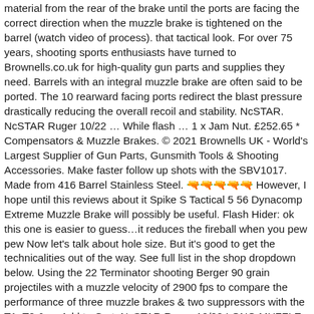material from the rear of the brake until the ports are facing the correct direction when the muzzle brake is tightened on the barrel (watch video of process). that tactical look. For over 75 years, shooting sports enthusiasts have turned to Brownells.co.uk for high-quality gun parts and supplies they need. Barrels with an integral muzzle brake are often said to be ported. The 10 rearward facing ports redirect the blast pressure drastically reducing the overall recoil and stability. NcSTAR. NcSTAR Ruger 10/22 ... While flash ... 1 x Jam Nut. £252.65 * Compensators & Muzzle Brakes. © 2021 Brownells UK - World's Largest Supplier of Gun Parts, Gunsmith Tools & Shooting Accessories. Make faster follow up shots with the SBV1017. Made from 416 Barrel Stainless Steel. 🔫🔫🔫🔫🔫 However, I hope until this reviews about it Spike S Tactical 5 56 Dynacomp Extreme Muzzle Brake will possibly be useful. Flash Hider: ok this one is easier to guess...it reduces the fireball when you pew pew Now let's talk about hole size. But it's good to get the technicalities out of the way. See full list in the shop dropdown below. Using the 22 Terminator shooting Berger 90 grain projectiles with a muzzle velocity of 2900 fps to compare the performance of three muzzle brakes & two suppressors with the T1, T2 & ... Add to Cart. NcSTAR Ruger 10/22 LONG MUZZLE BRAKE/BLACK. Shop Muzzle Brakes | Extreme Range Outfitters Hunting Auction Filter by All Muzzle Brakes Sort by Featured Best Selling Alphabetically, A-Z Alphabetically, Z-A Price, low to high Price, high to low Date, new to old Date, old to new If you aren't